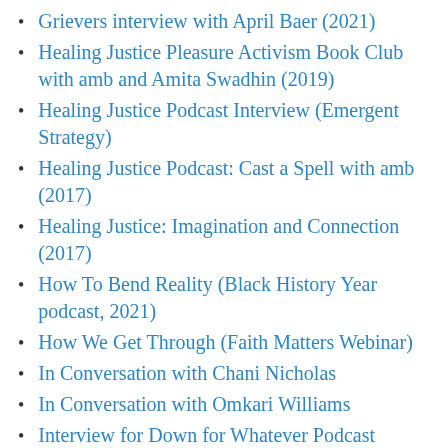Grievers interview with April Baer (2021)
Healing Justice Pleasure Activism Book Club with amb and Amita Swadhin (2019)
Healing Justice Podcast Interview (Emergent Strategy)
Healing Justice Podcast: Cast a Spell with amb (2017)
Healing Justice: Imagination and Connection (2017)
How To Bend Reality (Black History Year podcast, 2021)
How We Get Through (Faith Matters Webinar)
In Conversation with Chani Nicholas
In Conversation with Omkari Williams
Interview for Down for Whatever Podcast